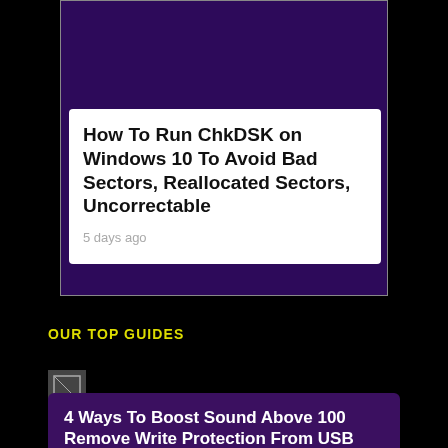How To Run ChkDSK on Windows 10 To Avoid Bad Sectors, Reallocated Sectors, Uncorrectable
5 days ago
OUR TOP GUIDES
[Figure (photo): Small broken image thumbnail icon]
4 Ways To Boost Sound Above 100 Remove Write Protection From USB